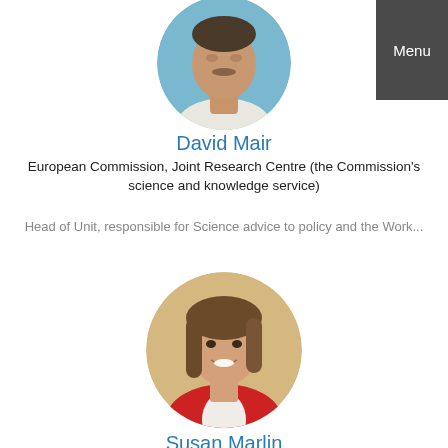[Figure (photo): Circular portrait photo of David Mair, showing a man's face and neck, partially cropped at top]
David Mair
European Commission, Joint Research Centre (the Commission's science and knowledge service)
Head of Unit, responsible for Science advice to policy and the Work...
[Figure (photo): Circular portrait photo of Susan Marlin, a woman with brown hair wearing a red jacket, smiling]
Susan Marlin
Clinical Trials Ontario